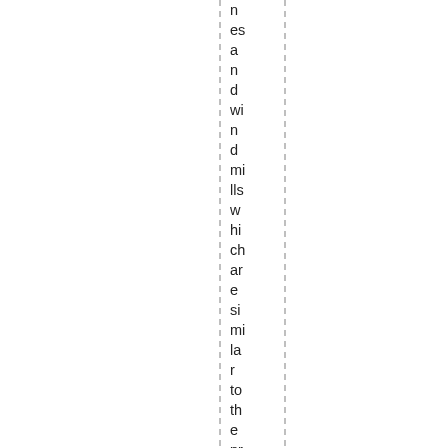n es a n d wi n d mi lls w hi ch ar e si mi la r to th e pr o d uc ts of R S P